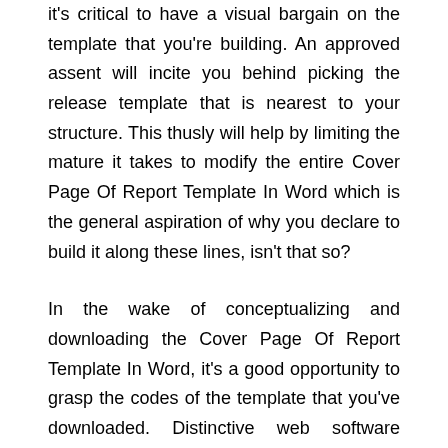it's critical to have a visual bargain on the template that you're building. An approved assent will incite you behind picking the release template that is nearest to your structure. This thusly will help by limiting the mature it takes to modify the entire Cover Page Of Report Template In Word which is the general aspiration of why you declare to build it along these lines, isn't that so?
In the wake of conceptualizing and downloading the Cover Page Of Report Template In Word, it's a good opportunity to grasp the codes of the template that you've downloaded. Distinctive web software engineers have various styles or systems on how they structure their codes consequently arrangement the codes first previously altering whatever makes you significantly increasingly competent and less inclined to agree mistakes en route.
After you've wrapped up the codes, it's essential to check its empathy in imitation of various programs. This is an important wellbeing safety produce an effect regardless of whether the article for the not have asked suitable redirect from Cover